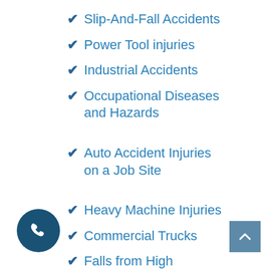Slip-And-Fall Accidents
Power Tool injuries
Industrial Accidents
Occupational Diseases and Hazards
Auto Accident Injuries on a Job Site
Heavy Machine Injuries
Commercial Trucks
Falls from High Elevations, Such as Ladders, Scaffolding